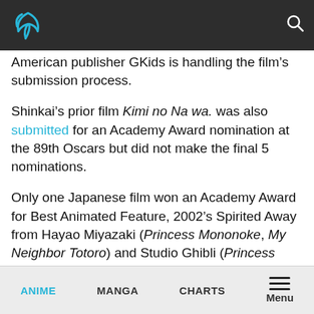[navigation bar with logo and search icon]
American publisher GKids is handling the film’s submission process.
Shinkai’s prior film Kimi no Na wa. was also submitted for an Academy Award nomination at the 89th Oscars but did not make the final 5 nominations.
Only one Japanese film won an Academy Award for Best Animated Feature, 2002’s Spirited Away from Hayao Miyazaki (Princess Mononoke, My Neighbor Totoro) and Studio Ghibli (Princess Mononoke, My Neighbor Totoro)
ANIME  MANGA  CHARTS  Menu